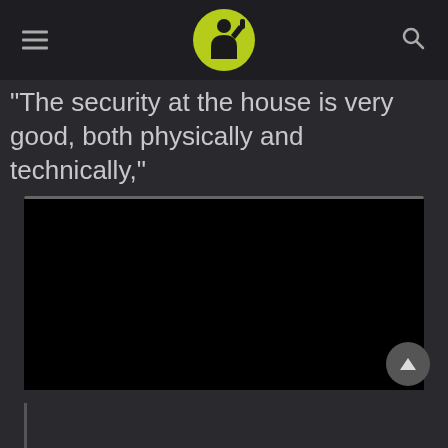Header with logo, hamburger menu, and search icon
“The security at the house is very good, both physically and technically,”
[Figure (screenshot): Embedded video player with black background and a progress bar with orange/yellow dot at the beginning]
Bottom bar with back-to-top button